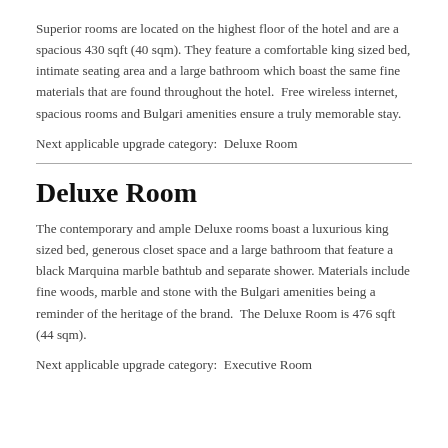Superior rooms are located on the highest floor of the hotel and are a spacious 430 sqft (40 sqm). They feature a comfortable king sized bed, intimate seating area and a large bathroom which boast the same fine materials that are found throughout the hotel.  Free wireless internet, spacious rooms and Bulgari amenities ensure a truly memorable stay.
Next applicable upgrade category:  Deluxe Room
Deluxe Room
The contemporary and ample Deluxe rooms boast a luxurious king sized bed, generous closet space and a large bathroom that feature a black Marquina marble bathtub and separate shower. Materials include fine woods, marble and stone with the Bulgari amenities being a reminder of the heritage of the brand.  The Deluxe Room is 476 sqft (44 sqm).
Next applicable upgrade category:  Executive Room